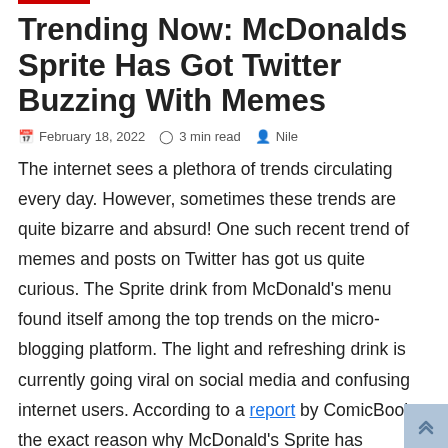Trending Now: McDonalds Sprite Has Got Twitter Buzzing With Memes
February 18, 2022  3 min read  Nile
The internet sees a plethora of trends circulating every day. However, sometimes these trends are quite bizarre and absurd! One such recent trend of memes and posts on Twitter has got us quite curious. The Sprite drink from McDonald's menu found itself among the top trends on the micro-blogging platform. The light and refreshing drink is currently going viral on social media and confusing internet users. According to a report by ComicBook, the exact reason why McDonald's Sprite has resurfaced online is unclear. Apparently, people are saying that it